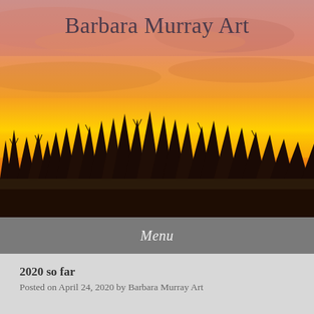[Figure (photo): Sunset or sunrise landscape photograph showing a vivid orange and red sky with silhouettes of bare trees along the horizon. The sky transitions from deep red-orange at the bottom to pink and lighter tones at the top.]
Barbara Murray Art
Menu
2020 so far
Posted on April 24, 2020 by Barbara Murray Art